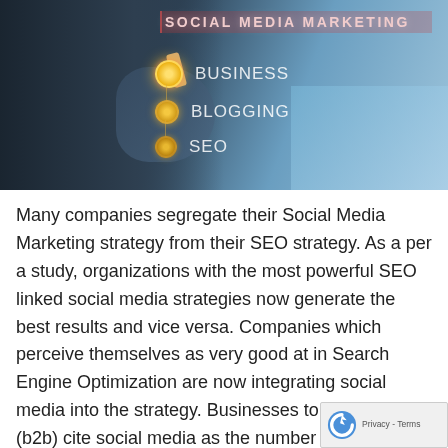[Figure (photo): Business professional pointing at a glowing social media marketing diagram with bullet points: Social Media Marketing (highlighted), Business, Blogging, SEO — displayed on a transparent interface against a blue background]
Many companies segregate their Social Media Marketing strategy from their SEO strategy. As a per a study, organizations with the most powerful SEO linked social media strategies now generate the best results and vice versa. Companies which perceive themselves as very good at in Search Engine Optimization are now integrating social media into the strategy. Businesses to Businesses (b2b) cite social media as the number two most significant factor in search rankings behind only quality content